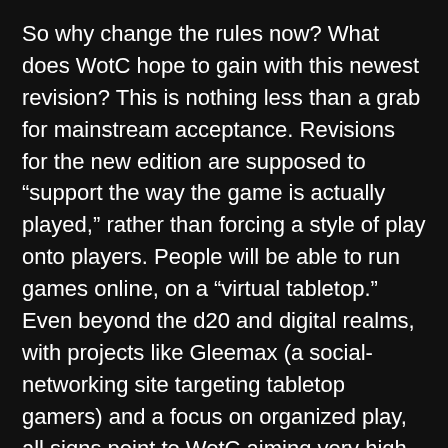So why change the rules now? What does WotC hope to gain with this newest revision? This is nothing less than a grab for mainstream acceptance. Revisions for the new edition are supposed to “support the way the game is actually played,” rather than forcing a style of play onto players. People will be able to run games online, on a “virtual tabletop.” Even beyond the d20 and digital realms, with projects like Gleemax (a social-networking site targeting tabletop gamers) and a focus on organized play, all signs point to WotC aiming very high with its ambitions.
Many of the statements WotC has made so far have been intended to calm current players, and might persuade you it’s really not looking to cast its net far and wide. Phrases like “the digital tabletop isn’t intended to take the place of your gaming table,” the intent to “bring the current players along before we go